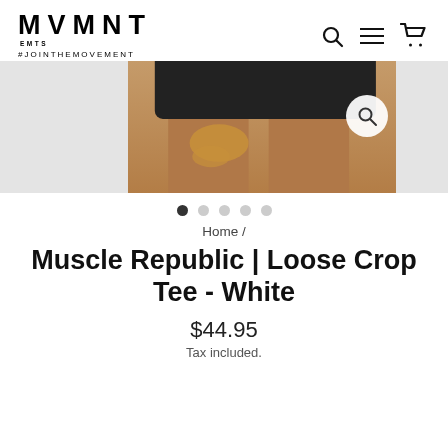MVMNT EMTS #JOINTHEMOVEMENT
[Figure (photo): Product image strip showing a model wearing black athletic shorts and top, with light grey panels on left and right sides and a search/zoom icon overlay. Carousel dot indicators below showing 5 dots, first active.]
Home /
Muscle Republic | Loose Crop Tee - White
$44.95
Tax included.